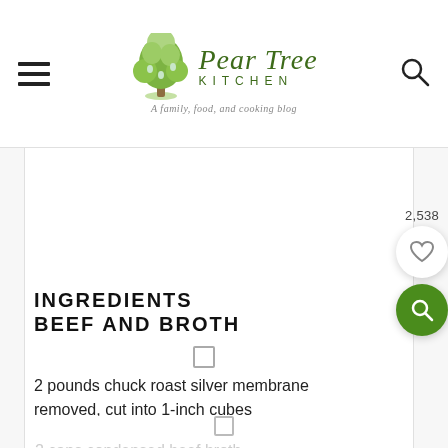Pear Tree Kitchen — A family, food, and cooking blog
INGREDIENTS BEEF AND BROTH
2 pounds chuck roast silver membrane removed, cut into 1-inch cubes
2 cans condensed beef broth